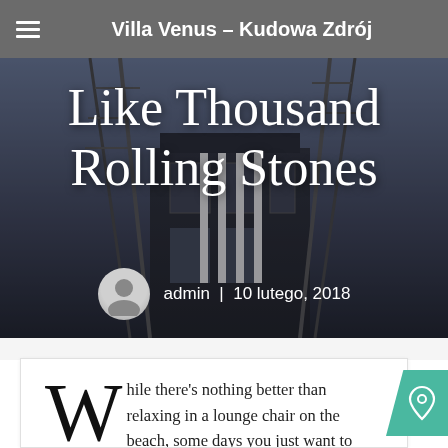Villa Venus – Kudowa Zdrój
Like Thousand Rolling Stones
admin | 10 lutego, 2018
While there's nothing better than relaxing in a lounge chair on the beach, some days you just want to enjoy something a bit more active. That is why we've put together a few of our top suggestions when it comes to